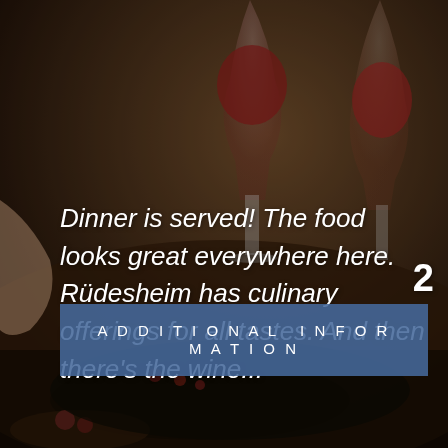[Figure (photo): Photograph of a dinner table scene with wine glasses filled with red wine, food platters, and people dining. The image is dark and atmospheric with a warm, blurred background.]
Dinner is served! The food looks great everywhere here. Rüdesheim has culinary offerings for all tastes. And then there's the wine...
2
ADDITIONAL INFORMATION